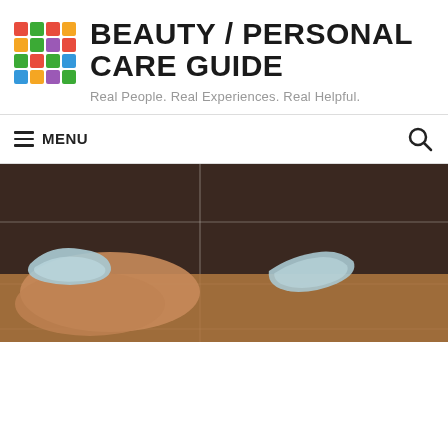[Figure (logo): Colorful grid logo with multi-colored squares in a 4x4 pattern]
BEAUTY / PERSONAL CARE GUIDE
Real People. Real Experiences. Real Helpful.
≡ MENU
[Figure (photo): Close-up photo of dental aligners or retainers on a wooden surface with brown tile background]